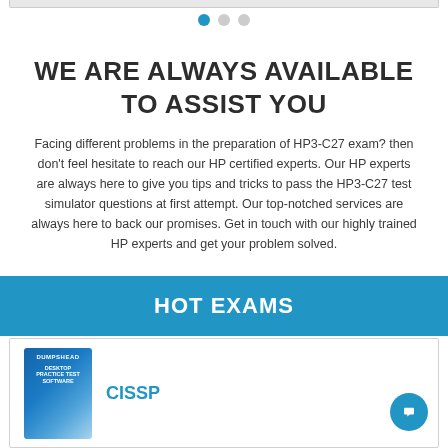[Figure (other): Carousel navigation dots — one active blue dot followed by two grey dots]
WE ARE ALWAYS AVAILABLE TO ASSIST YOU
Facing different problems in the preparation of HP3-C27 exam? then don't feel hesitate to reach our HP certified experts. Our HP experts are always here to give you tips and tricks to pass the HP3-C27 test simulator questions at first attempt. Our top-notched services are always here to back our promises. Get in touch with our highly trained HP experts and get your problem solved.
HOT EXAMS
[Figure (photo): Desktop Practice Test Software product box image (blue box with DUMPSHEAD branding)]
CISSP